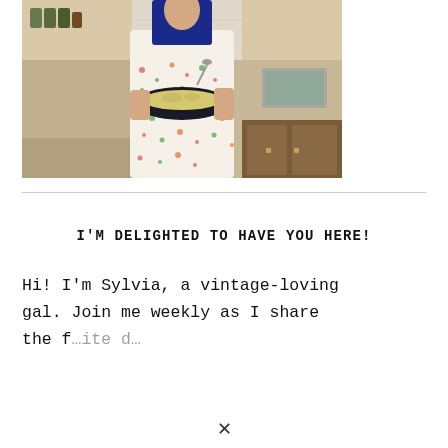[Figure (photo): A woman wearing a floral apron over a black top, standing in a kitchen and holding a dark bowl filled with pasta salad. Kitchen counters, cabinets, a sink, and spice jars are visible in the background.]
I'M DELIGHTED TO HAVE YOU HERE!
Hi! I'm Sylvia, a vintage-loving gal. Join me weekly as I share the f…ite d…